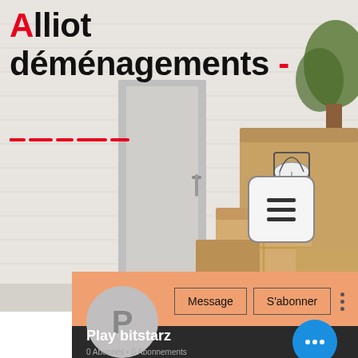Alliot déménagements -
[Figure (screenshot): Background photo of moving boxes stacked near a white brick wall with a door and a plant. Overlay includes a hamburger menu icon button, orange social media profile banner with Message and S'abonner buttons, a profile circle with letter P, blue floating action button with three dots, username 'Play bitstarz', and subscriber info '0 Abonnés • 0 Abonnements'.]
Play bitstarz
0 Abonnés • 0 Abonnements